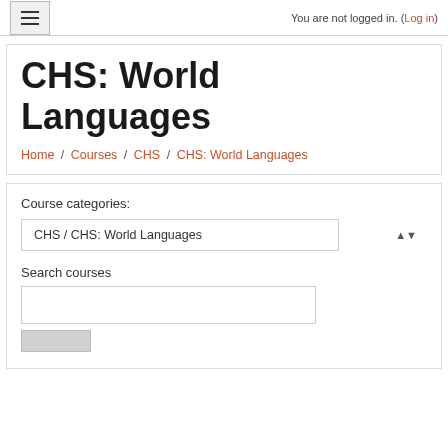You are not logged in. (Log in)
CHS: World Languages
Home / Courses / CHS / CHS: World Languages
Course categories:
CHS / CHS: World Languages
Search courses